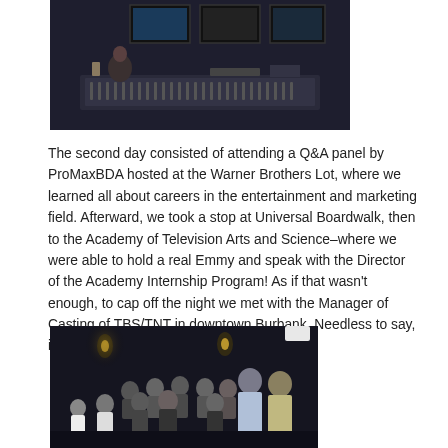[Figure (photo): Person sitting at a large mixing/editing console with multiple monitors in a dark studio control room]
The second day consisted of attending a Q&A panel by ProMaxBDA hosted at the Warner Brothers Lot, where we learned all about careers in the entertainment and marketing field. Afterward, we took a stop at Universal Boardwalk, then to the Academy of Television Arts and Science–where we were able to hold a real Emmy and speak with the Director of the Academy Internship Program! As if that wasn't enough, to cap off the night we met with the Manager of Casting of TBS/TNT in downtown Burbank. Needless to say, it was a tiring, but amazing day once again.
[Figure (photo): Group photo of approximately 20-25 people posing together in a dark room with ambient lighting, some in professional attire]